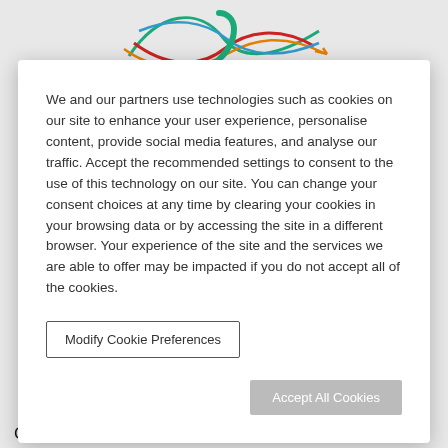[Figure (logo): Colorful swooping curved lines (teal, red, orange, blue) forming an abstract logo with a teal checkmark/J shape in the center]
We and our partners use technologies such as cookies on our site to enhance your user experience, personalise content, provide social media features, and analyse our traffic. Accept the recommended settings to consent to the use of this technology on our site. You can change your consent choices at any time by clearing your cookies in your browsing data or by accessing the site in a different browser. Your experience of the site and the services we are able to offer may be impacted if you do not accept all of the cookies.
Modify Cookie Preferences
Accept All Cookies
Come and join our team